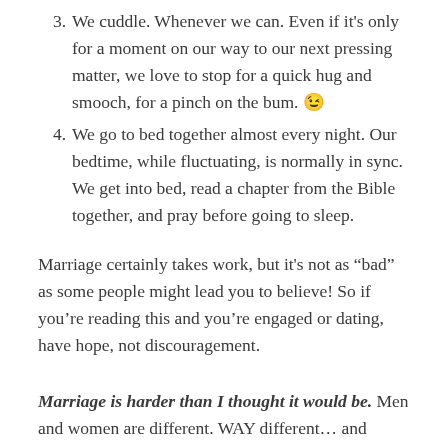3. We cuddle. Whenever we can. Even if it's only for a moment on our way to our next pressing matter, we love to stop for a quick hug and smooch, for a pinch on the bum. 😉
4. We go to bed together almost every night. Our bedtime, while fluctuating, is normally in sync. We get into bed, read a chapter from the Bible together, and pray before going to sleep.
Marriage certainly takes work, but it's not as “bad” as some people might lead you to believe! So if you’re reading this and you’re engaged or dating, have hope, not discouragement.
Marriage is harder than I thought it would be. Men and women are different. WAY different… and definitely in more ways and to a larger degree than I